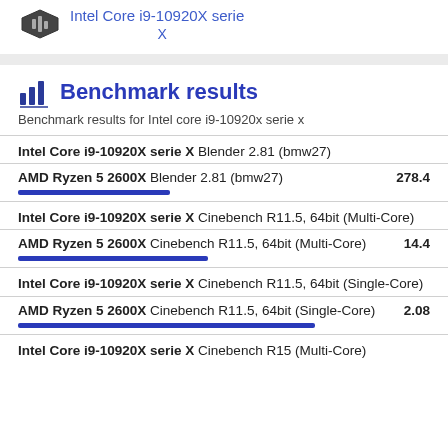[Figure (logo): Intel CPU chip logo/icon, dark hexagonal shape]
Intel Core i9-10920X serie X
Benchmark results
Benchmark results for Intel core i9-10920x serie x
Intel Core i9-10920X serie X Blender 2.81 (bmw27)
AMD Ryzen 5 2600X Blender 2.81 (bmw27) 278.4
Intel Core i9-10920X serie X Cinebench R11.5, 64bit (Multi-Core)
AMD Ryzen 5 2600X Cinebench R11.5, 64bit (Multi-Core) 14.4
Intel Core i9-10920X serie X Cinebench R11.5, 64bit (Single-Core)
AMD Ryzen 5 2600X Cinebench R11.5, 64bit (Single-Core) 2.08
Intel Core i9-10920X serie X Cinebench R15 (Multi-Core)